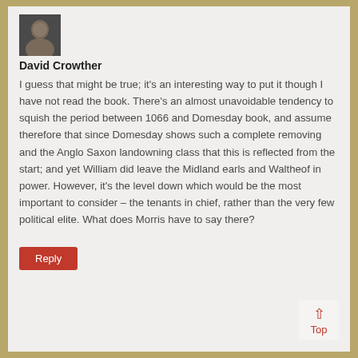[Figure (photo): Small square avatar photo of David Crowther, a person with dark hair and beard]
David Crowther
I guess that might be true; it's an interesting way to put it though I have not read the book. There's an almost unavoidable tendency to squish the period between 1066 and Domesday book, and assume therefore that since Domesday shows such a complete removing and the Anglo Saxon landowning class that this is reflected from the start; and yet William did leave the Midland earls and Waltheof in power. However, it's the level down which would be the most important to consider – the tenants in chief, rather than the very few political elite. What does Morris have to say there?
Reply
Top